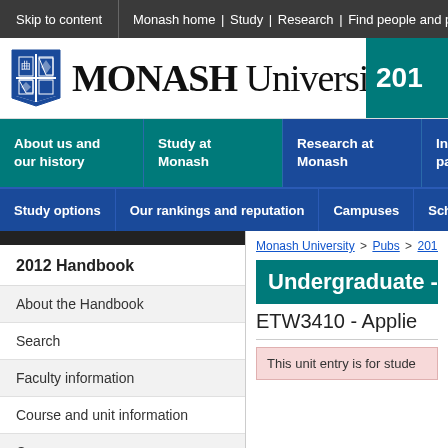Skip to content | Monash home | Study | Research | Find people and places
[Figure (logo): Monash University shield logo with text 'MONASH University' and year box '201' (truncated)]
About us and our history | Study at Monash | Research at Monash | Indu... part...
Study options | Our rankings and reputation | Campuses | Scholarship...
2012 Handbook
About the Handbook
Search
Faculty information
Course and unit information
Courses
Monash University > Pubs > 2012ha...
Undergraduate - U...
ETW3410 - Applie...
This unit entry is for stude...